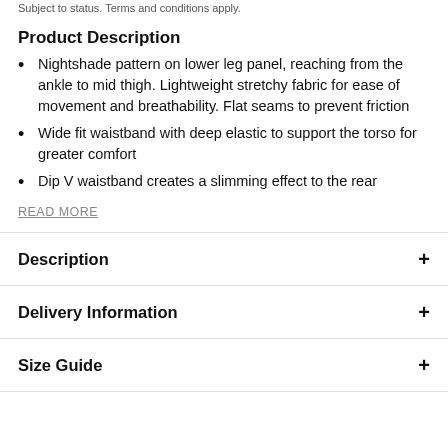Subject to status. Terms and conditions apply.
Product Description
Nightshade pattern on lower leg panel, reaching from the ankle to mid thigh. Lightweight stretchy fabric for ease of movement and breathability. Flat seams to prevent friction
Wide fit waistband with deep elastic to support the torso for greater comfort
Dip V waistband creates a slimming effect to the rear
READ MORE
Description
Delivery Information
Size Guide